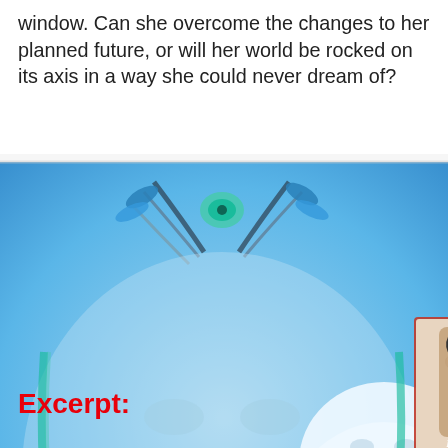window. Can she overcome the changes to her planned future, or will her world be rocked on its axis in a way she could never dream of?
[Figure (illustration): Promotional book collage image with blue background featuring two white wolves, dreamcatcher decorations, a woman with dark hair (book cover for 'Accidentally Forever' by Gina Kincade), a shirtless male torso book cover ('Rescue Me'), text overlay 'Lock in Limited Time Only Price' in bold black letters, and '99cents' in red italic text.]
Excerpt: